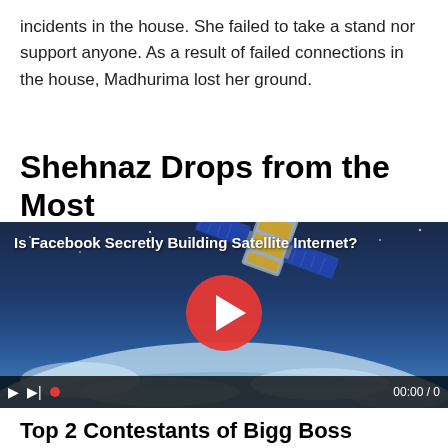incidents in the house. She failed to take a stand nor support anyone. As a result of failed connections in the house, Madhurima lost her ground.
Shehnaz Drops from the Most
[Figure (screenshot): Video player thumbnail showing a satellite in orbit above Earth with a blue sky background. Video title reads 'Is Facebook Secretly Building Satellite Internet?' with a red play button in the center. Video controls at the bottom show play, skip, record dot buttons and timestamp 00:00 / 0]
Top 2 Contestants of Bigg Boss